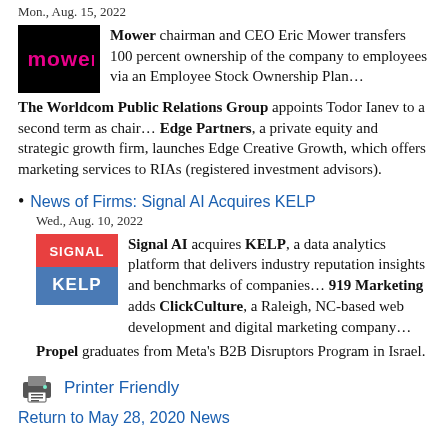Mon., Aug. 15, 2022
Mower chairman and CEO Eric Mower transfers 100 percent ownership of the company to employees via an Employee Stock Ownership Plan… The Worldcom Public Relations Group appoints Todor Ianev to a second term as chair… Edge Partners, a private equity and strategic growth firm, launches Edge Creative Growth, which offers marketing services to RIAs (registered investment advisors).
News of Firms: Signal AI Acquires KELP
Wed., Aug. 10, 2022
Signal AI acquires KELP, a data analytics platform that delivers industry reputation insights and benchmarks of companies… 919 Marketing adds ClickCulture, a Raleigh, NC-based web development and digital marketing company… Propel graduates from Meta's B2B Disruptors Program in Israel.
Printer Friendly
Return to May 28, 2020 News